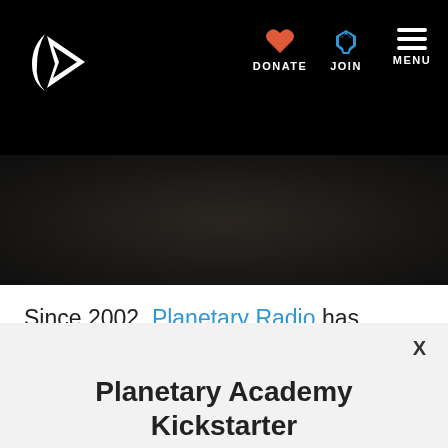[Figure (screenshot): Planetary Society navigation bar with logo (crescent moon and arrow), DONATE (heart icon), JOIN (rocket icon), MENU (hamburger icon) on black background]
[Figure (photo): Dark background banner image, partially visible]
Since 2002, Planetary Radio has visited with a scientist, engineer, project manager
Planetary Academy Kickstarter
BACK OUR PROJECT